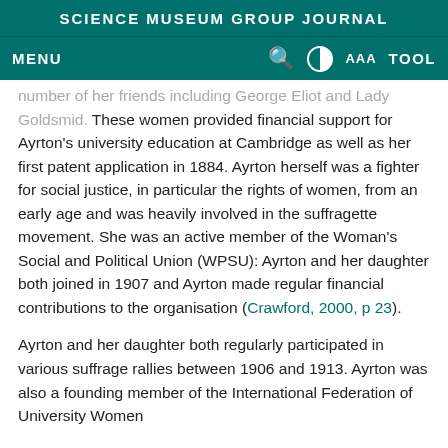SCIENCE MUSEUM GROUP JOURNAL
MENU  [search] [contrast] AAA TOOL
number of her friends including George Eliot and Lady Goldsmid. These women provided financial support for Ayrton's university education at Cambridge as well as her first patent application in 1884. Ayrton herself was a fighter for social justice, in particular the rights of women, from an early age and was heavily involved in the suffragette movement. She was an active member of the Woman's Social and Political Union (WPSU): Ayrton and her daughter both joined in 1907 and Ayrton made regular financial contributions to the organisation (Crawford, 2000, p 23).
Ayrton and her daughter both regularly participated in various suffrage rallies between 1906 and 1913. Ayrton was also a founding member of the International Federation of University Women